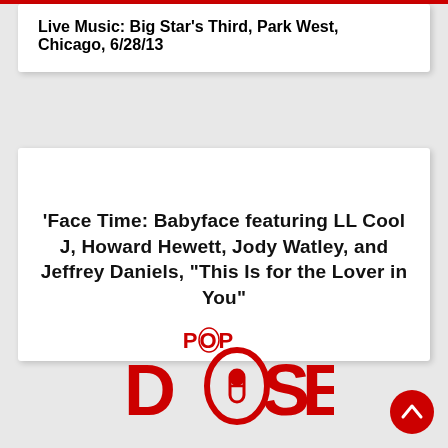Live Music: Big Star's Third, Park West, Chicago, 6/28/13
'Face Time: Babyface featuring LL Cool J, Howard Hewett, Jody Watley, and Jeffrey Daniels, “This Is for the Lover in You”
[Figure (logo): Popdose logo in red with POP above DOSE text, the O in DOSE replaced with a pill capsule design]